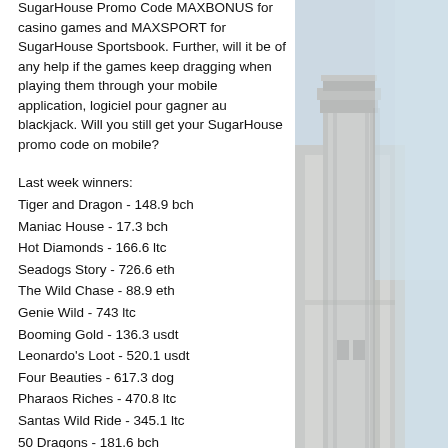SugarHouse Promo Code MAXBONUS for casino games and MAXSPORT for SugarHouse Sportsbook. Further, will it be of any help if the games keep dragging when playing them through your mobile application, logiciel pour gagner au blackjack. Will you still get your SugarHouse promo code on mobile?
Last week winners:
Tiger and Dragon - 148.9 bch
Maniac House - 17.3 bch
Hot Diamonds - 166.6 ltc
Seadogs Story - 726.6 eth
The Wild Chase - 88.9 eth
Genie Wild - 743 ltc
Booming Gold - 136.3 usdt
Leonardo's Loot - 520.1 usdt
Four Beauties - 617.3 dog
Pharaos Riches - 470.8 ltc
Santas Wild Ride - 345.1 ltc
50 Dragons - 181.6 bch
[Figure (photo): Photograph of a white/grey building exterior with architectural columns or pilasters, shot against a light sky background.]